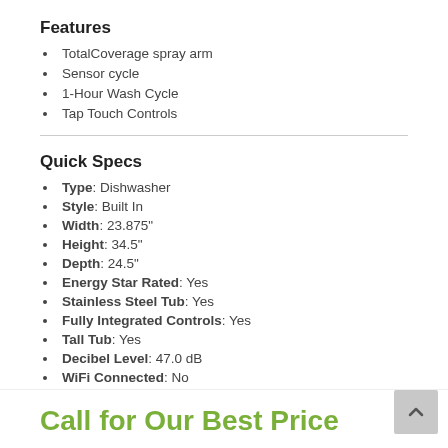Features
TotalCoverage spray arm
Sensor cycle
1-Hour Wash Cycle
Tap Touch Controls
Quick Specs
Type: Dishwasher
Style: Built In
Width: 23.875"
Height: 34.5"
Depth: 24.5"
Energy Star Rated: Yes
Stainless Steel Tub: Yes
Fully Integrated Controls: Yes
Tall Tub: Yes
Decibel Level: 47.0 dB
WiFi Connected: No
See More
Call for Our Best Price